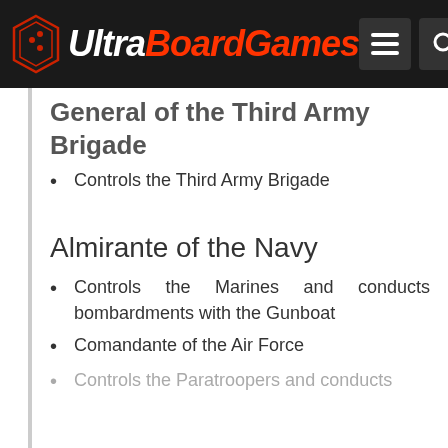UltraBoardGames
General of the Third Army Brigade
Controls the Third Army Brigade
Almirante of the Navy
Controls the Marines and conducts bombardments with the Gunboat
Comandante of the Air Force
Controls the Paratroopers and conducts